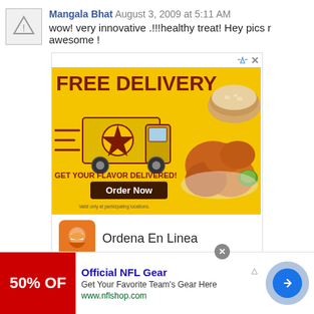Mangala Bhat August 3, 2009 at 5:11 AM
wow! very innovative .!!!healthy treat! Hey pics r awesome !
[Figure (screenshot): Advertisement for Pollo Campero free delivery with yellow background, food truck graphic, fried chicken image, 'FREE DELIVERY', 'GET YOUR FLAVOR DELIVERED!', 'Order Now' button, and local restaurant info showing 'Ordena En Linea' and 'Pollo Campero Herndon 10AM-10PM']
[Figure (screenshot): Bottom banner ad for Official NFL Gear showing '50% OFF' on red background, with text 'Official NFL Gear', 'Get Your Favorite Team's Gear Here', 'www.nflshop.com', a blue circular arrow button, and a close X button]